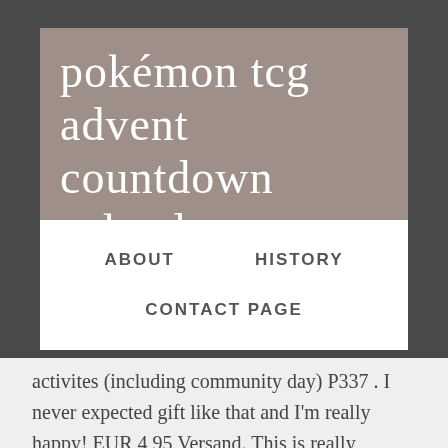pokémon tcg advent countdown calendar
ABOUT   HISTORY   CONTACT PAGE
activites (including community day) P337 . I never expected gift like that and I'm really happy! EUR 4,95 Versand. This is really interesting Christmas gift and I'm glad that Pokemon UK decided to give one to me.